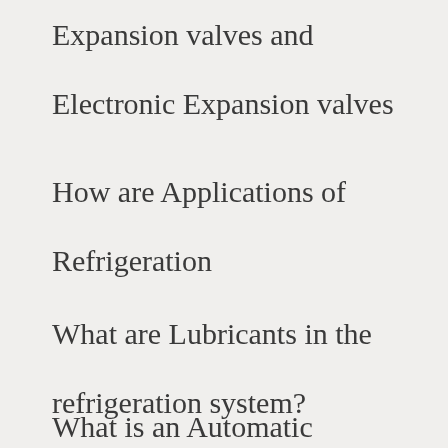Expansion valves and Electronic Expansion valves
How are Applications of Refrigeration
What are Lubricants in the refrigeration system?
What is an Automatic